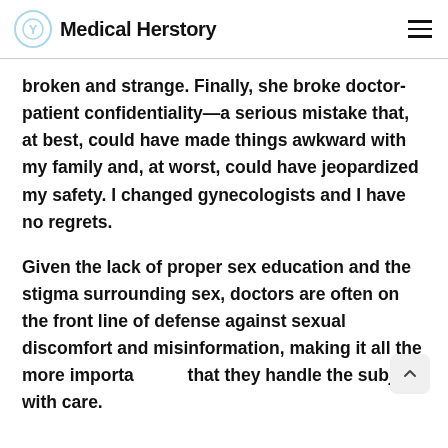Medical Herstory
broken and strange. Finally, she broke doctor-patient confidentiality—a serious mistake that, at best, could have made things awkward with my family and, at worst, could have jeopardized my safety. I changed gynecologists and I have no regrets.
Given the lack of proper sex education and the stigma surrounding sex, doctors are often on the front line of defense against sexual discomfort and misinformation, making it all the more importa that they handle the subject with care.